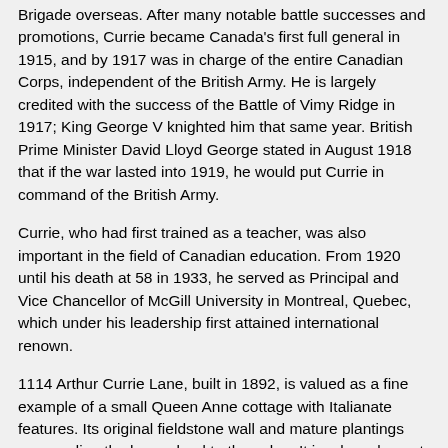Brigade overseas. After many notable battle successes and promotions, Currie became Canada's first full general in 1915, and by 1917 was in charge of the entire Canadian Corps, independent of the British Army. He is largely credited with the success of the Battle of Vimy Ridge in 1917; King George V knighted him that same year. British Prime Minister David Lloyd George stated in August 1918 that if the war lasted into 1919, he would put Currie in command of the British Army.
Currie, who had first trained as a teacher, was also important in the field of Canadian education. From 1920 until his death at 58 in 1933, he served as Principal and Vice Chancellor of McGill University in Montreal, Quebec, which under his leadership first attained international renown.
1114 Arthur Currie Lane, built in 1892, is valued as a fine example of a small Queen Anne cottage with Italianate features. Its original fieldstone wall and mature plantings surrounding the house lend to the value. It is a key element in a large heritage cluster, and contiguous to the Catherine Street Heritage Conservation Area. This landmark house is highly visible from below on the pedestrian walkway, and across the Selkirk Water.
Sources: City of Victoria Planning and Development Department;